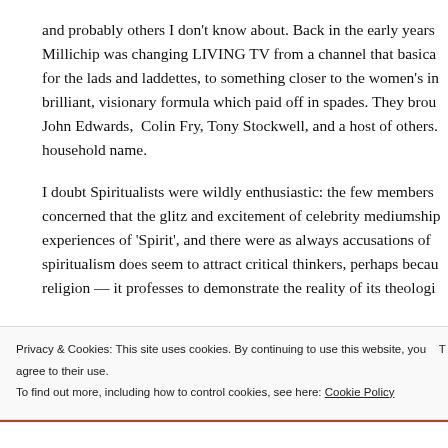and probably others I don't know about. Back in the early years Millichip was changing LIVING TV from a channel that basically for the lads and laddettes, to something closer to the women's in brilliant, visionary formula which paid off in spades. They brou John Edwards,  Colin Fry, Tony Stockwell, and a host of others. household name.
I doubt Spiritualists were wildly enthusiastic: the few members concerned that the glitz and excitement of celebrity mediumship experiences of 'Spirit', and there were as always accusations of spiritualism does seem to attract critical thinkers, perhaps becau religion — it professes to demonstrate the reality of its theologi
Privacy & Cookies: This site uses cookies. By continuing to use this website, you agree to their use.
To find out more, including how to control cookies, see here: Cookie Policy